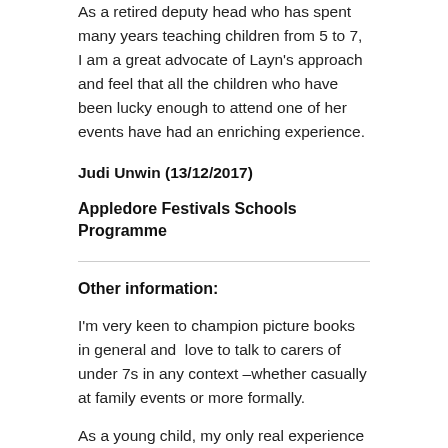As a retired deputy head who has spent many years teaching children from 5 to 7, I am a great advocate of Layn's approach and feel that all the children who have been lucky enough to attend one of her events have had an enriching experience.
Judi Unwin (13/12/2017)
Appledore Festivals Schools Programme
Other information:
I'm very keen to champion picture books in general and  love to talk to carers of under 7s in any context –whether casually at family events or more formally.
As a young child, my only real experience of